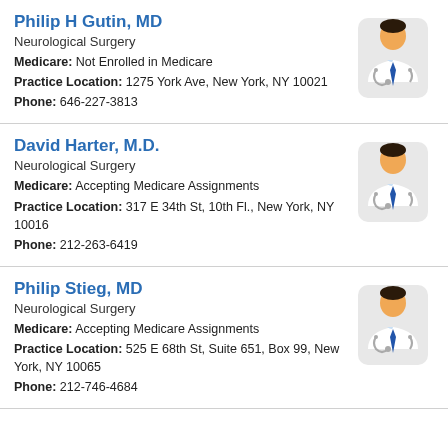Philip H Gutin, MD
Neurological Surgery
Medicare: Not Enrolled in Medicare
Practice Location: 1275 York Ave, New York, NY 10021
Phone: 646-227-3813
[Figure (illustration): Generic male doctor icon with stethoscope]
David Harter, M.D.
Neurological Surgery
Medicare: Accepting Medicare Assignments
Practice Location: 317 E 34th St, 10th Fl., New York, NY 10016
Phone: 212-263-6419
[Figure (illustration): Generic male doctor icon with stethoscope]
Philip Stieg, MD
Neurological Surgery
Medicare: Accepting Medicare Assignments
Practice Location: 525 E 68th St, Suite 651, Box 99, New York, NY 10065
Phone: 212-746-4684
[Figure (illustration): Generic male doctor icon with stethoscope]